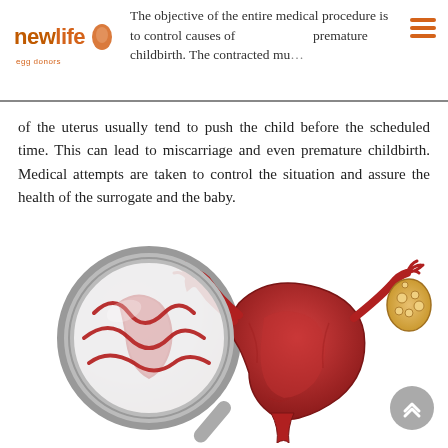newlife egg donors — The objective of the entire medical procedure is to control causes of premature childbirth. The contracted muscles of the uterus usually tend to push the child before the scheduled time.
of the uterus usually tend to push the child before the scheduled time. This can lead to miscarriage and even premature childbirth. Medical attempts are taken to control the situation and assure the health of the surrogate and the baby.
[Figure (illustration): Medical illustration showing a cross-section of a uterus with fallopian tubes and ovary (orange/red tones), alongside a magnifying glass zooming in on uterine contractions depicted inside the lens]